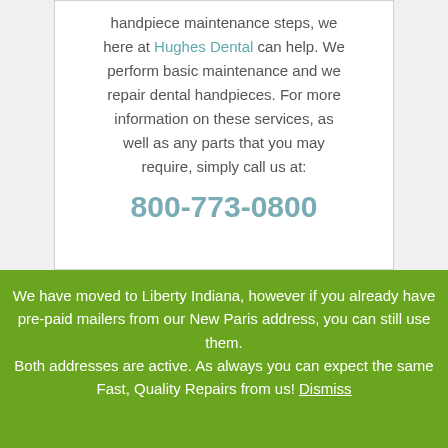handpiece maintenance steps, we here at Hughes Dental can help. We perform basic maintenance and we repair dental handpieces. For more information on these services, as well as any parts that you may require, simply call us at: 800-773-0800
We have moved to Liberty Indiana, however if you already have pre-paid mailers from our New Paris address, you can still use them. Both addresses are active. As always you can expect the same Fast, Quality Repairs from us! Dismiss